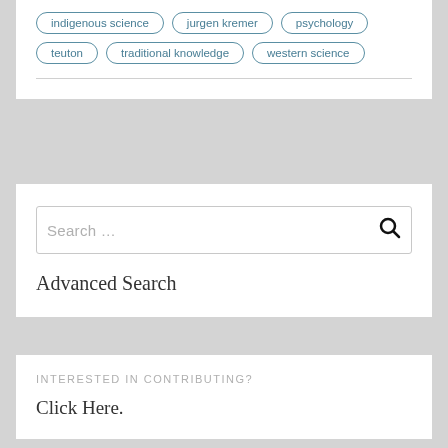indigenous science
jurgen kremer
psychology
teuton
traditional knowledge
western science
Search ...
Advanced Search
INTERESTED IN CONTRIBUTING?
Click Here.